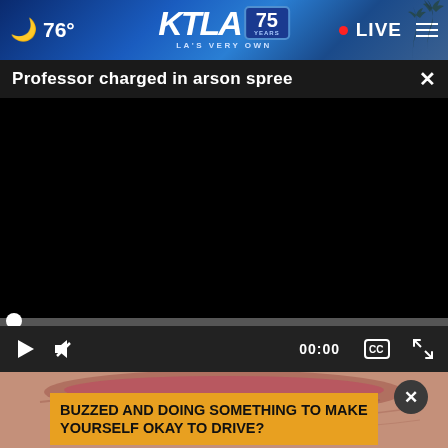🌙 76° | KTLA 75 YEARS – LA'S VERY OWN | • LIVE ☰
Professor charged in arson spree
[Figure (screenshot): Black video player area with progress bar at start (00:00), play button, mute button, and fullscreen controls]
[Figure (photo): Close-up photo of a mouth/teeth area at bottom of page with an advertisement overlay]
BUZZED AND DOING SOMETHING TO MAKE YOURSELF OKAY TO DRIVE?